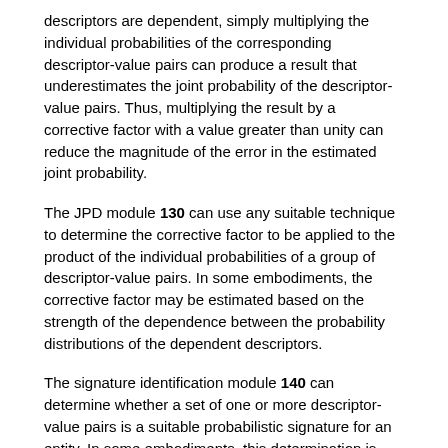descriptors are dependent, simply multiplying the individual probabilities of the corresponding descriptor-value pairs can produce a result that underestimates the joint probability of the descriptor-value pairs. Thus, multiplying the result by a corrective factor with a value greater than unity can reduce the magnitude of the error in the estimated joint probability.
The JPD module 130 can use any suitable technique to determine the corrective factor to be applied to the product of the individual probabilities of a group of descriptor-value pairs. In some embodiments, the corrective factor may be estimated based on the strength of the dependence between the probability distributions of the dependent descriptors.
The signature identification module 140 can determine whether a set of one or more descriptor-value pairs is a suitable probabilistic signature for an entity. In some embodiments, this determination is based on whether the joint probability of the descriptor-value pairs satisfies one or more specified conditions. For example, the signature identification module 140 can determine whether the